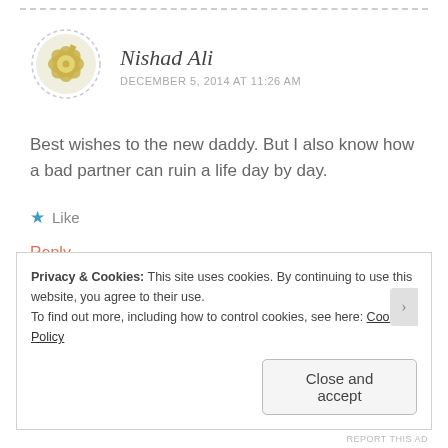[Figure (illustration): Circular avatar with dashed border containing a golden geometric/floral pattern on light background, representing user Nishad Ali]
Nishad Ali
DECEMBER 5, 2014 AT 11:26 AM
Best wishes to the new daddy. But I also know how a bad partner can ruin a life day by day.
★ Like
Reply
Privacy & Cookies: This site uses cookies. By continuing to use this website, you agree to their use.
To find out more, including how to control cookies, see here: Cookie Policy
Close and accept